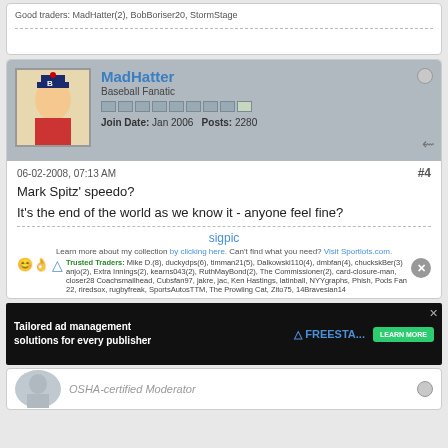Good traders: MadHatter(2), BobBoriser20, StormStage
MadHatter
Baseball Fanatic
Join Date: Jan 2006   Posts: 2280
06-02-2008, 07:13 AM
#4
Mark Spitz' speedo?
It's the end of the world as we know it - anyone feel fine?
sigpic
Learn more about my collection by clicking here. Can't find what you need? Visit Sportlots.com.
Trusted Traders: Mike D.(8), duckydps(6), timman21(5), Dalkowski110(4), dmbfan(4), chuckskBer(3) anjo(2), Extra Innings(2), kearns043(2), RuthMayBond(2), The Commissioner(2), card-closure-man, closer28 Coachsmallhead, Cubsfan97, jakre, jac, Ken Hastings, latinball, NYYgraphs, Phish, Pods Fan 22, riredsox, rugbyfreak, SportsAutosTTM, The Prowling Cat, Zito75, 14Bravesian14
[Figure (infographic): Advertisement banner: Tailored ad management solutions for every publisher - Freestar]
OSHA-certified Moderator